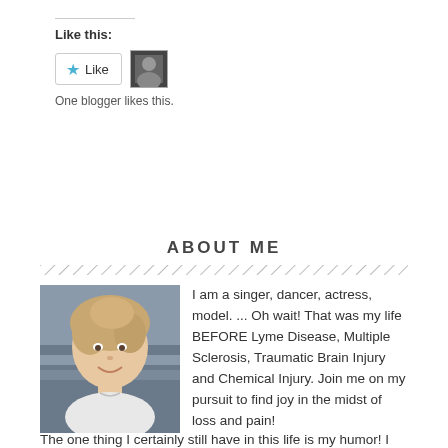Like this:
[Figure (screenshot): WordPress Like button with star icon and a blogger avatar thumbnail]
One blogger likes this.
ABOUT ME
[Figure (photo): Portrait photo of a smiling middle-aged woman with blonde hair]
I am a singer, dancer, actress, model. ... Oh wait! That was my life BEFORE Lyme Disease, Multiple Sclerosis, Traumatic Brain Injury and Chemical Injury. Join me on my pursuit to find joy in the midst of loss and pain! The one thing I certainly still have in this life is my humor! I hope you enjoy my blog full of